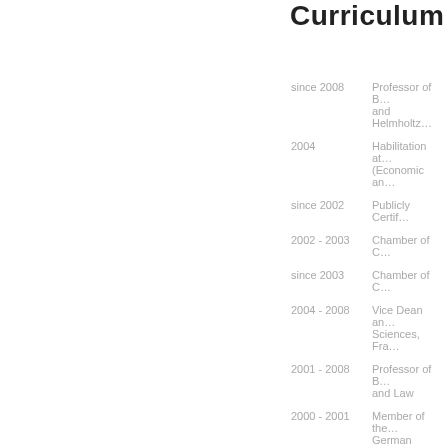Curriculum Vitae
since 2008 — Professor of B… and Helmholtz…
2004 — Habilitation at… (Economic an…
since 2002 — Publicly Certif…
2002 - 2003 — Chamber of C…
since 2003 — Chamber of C…
2004 - 2008 — Vice Dean an… Sciences, Fra…
2001 - 2008 — Professor of B… and Law
2000 - 2001 — Member of the… German Bund…
1999 - 2000 — Research Fell…
1998 - 1999 — Research Fell… Group "Ration…
1998 — Scholarship H…
1995 - 1998 — Habilitation Se…
SS 1995 — Visisting Profe…
Programme o…